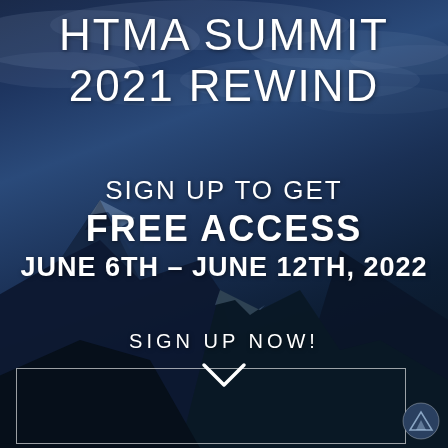[Figure (illustration): Dark blue mountain landscape background with cloudy sky and snow-capped mountain peaks. A promotional event advertisement overlay.]
HTMA SUMMIT 2021 REWIND
SIGN UP TO GET FREE ACCESS JUNE 6TH – JUNE 12TH, 2022
SIGN UP NOW!